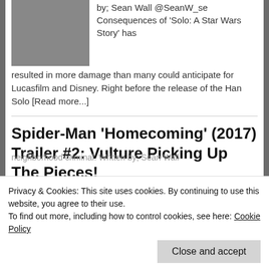by; Sean Wall @SeanW_se Consequences of 'Solo: A Star Wars Story' has resulted in more damage than many could anticipate for Lucasfilm and Disney. Right before the release of the Han Solo [Read more...]
Spider-Man ‘Homecoming’ (2017) Trailer #2: Vulture Picking Up The Pieces!
March 28, 2017 // 0 Comments
[Figure (photo): Dark red/maroon colored image thumbnail for Spider-Man Homecoming article]
Your neighborhood web-
neighborhood criminal. Written by; Sean Wall
Privacy & Cookies: This site uses cookies. By continuing to use this website, you agree to their use.
To find out more, including how to control cookies, see here: Cookie Policy